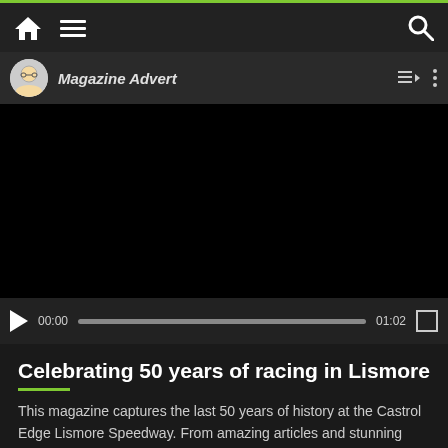Navigation bar with home, menu, and search icons
[Figure (screenshot): Video player showing 'Magazine Advert' with avatar icon, black video area, play button, progress bar showing 00:00 / 01:02, and fullscreen button]
Celebrating 50 years of racing in Lismore
This magazine captures the last 50 years of history at the Castrol Edge Lismore Speedway. From amazing articles and stunning images this magazine is indeed a collectors item and a must have for any Motorsport fan. As there is a limited number of copies it a case of be quick while they are available and at $9.95 each or $14.95 each posted they wont last.